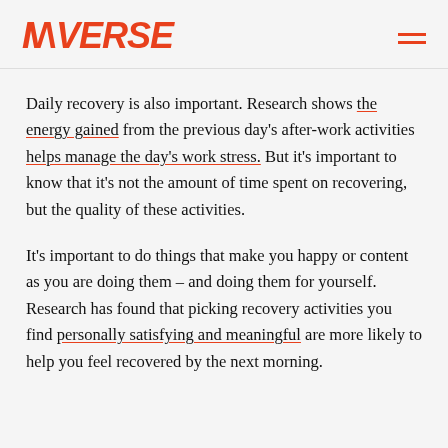INVERSE
Daily recovery is also important. Research shows the energy gained from the previous day's after-work activities helps manage the day's work stress. But it's important to know that it's not the amount of time spent on recovering, but the quality of these activities.
It's important to do things that make you happy or content as you are doing them – and doing them for yourself. Research has found that picking recovery activities you find personally satisfying and meaningful are more likely to help you feel recovered by the next morning.